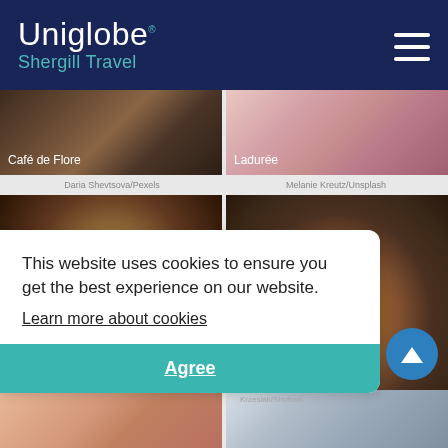[Figure (screenshot): Uniglobe Shergill Travel website header with dark navy background showing the Uniglobe logo and Shergill Travel text, with hamburger menu icon on the right]
[Figure (photo): Photo of coffee/food at Café de Flore]
Daria Shevtsova/Pexels
[Figure (photo): Photo of macarons at Ladurée]
Melanie Kreutz/Unsplash
[Figure (photo): Overhead photo of latte art coffee cup]
[Figure (photo): Photo of chocolate pastry with mint garnish]
Krzesiak/Shutterstock.com
This website uses cookies to ensure you get the best experience on our website.
Learn more about cookies
Agree
[Figure (photo): Close-up portrait photo]
[Figure (photo): Photo of glass stemware]